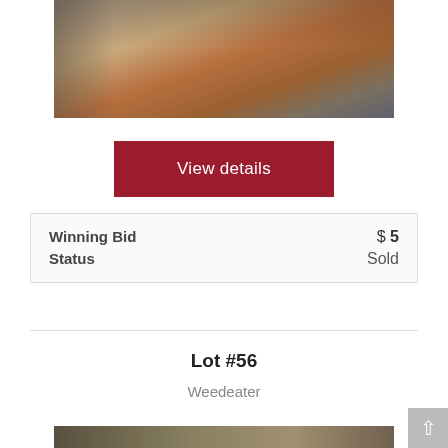[Figure (photo): Photo of wooden boards and lumber leaning against a wall indoors]
View details
| Winning Bid | $ 5 |
| Status | Sold |
Lot #56
Weedeater
[Figure (photo): Partial photo of auction item for Lot #56]